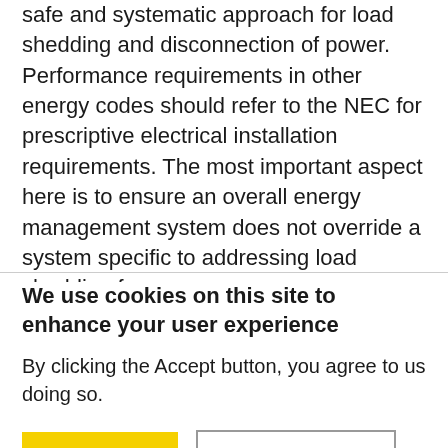safe and systematic approach for load shedding and disconnection of power. Performance requirements in other energy codes should refer to the NEC for prescriptive electrical installation requirements. The most important aspect here is to ensure an overall energy management system does not override a system specific to addressing load shedding for an
We use cookies on this site to enhance your user experience
By clicking the Accept button, you agree to us doing so.